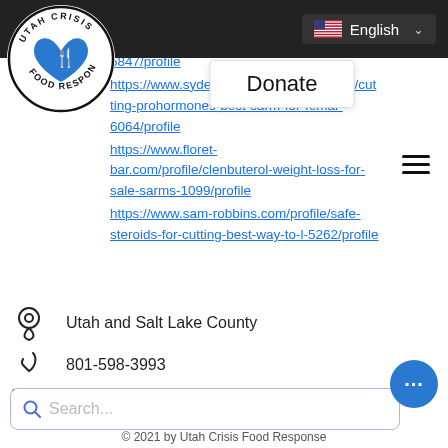[Figure (logo): Utah Crisis Food Response circular logo with blue heart and hands holding fork and spoon]
[Figure (screenshot): Navigation bar with US flag, English language selector, Donate button, and hamburger menu]
https://www.naboutcase.com/profile/best-bulking-cutting-ste.../5847/profile
https://www.sydeverettdesign.com/profile/cutting-prohormones-best-sarm-for-femal-6064/profile
https://www.floret-bar.com/profile/clenbuterol-weight-loss-for-sale-sarms-1099/profile
https://www.sam-robbins.com/profile/safe-steroids-for-cutting-best-way-to-l-5262/profile
Utah and Salt Lake County
801-598-3993
Info@utahcrisisfoodresponse.com
© 2021 by Utah Crisis Food Response